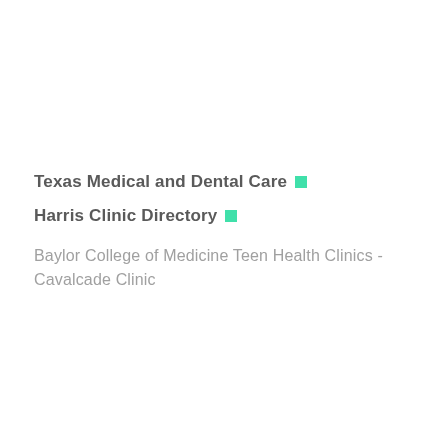Texas Medical and Dental Care
Harris Clinic Directory
Baylor College of Medicine Teen Health Clinics - Cavalcade Clinic